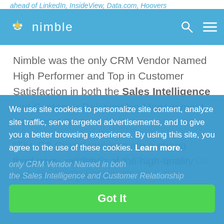ahead of LinkedIn, InsideView, Data.com, Hoovers
[Figure (logo): Nimble logo with icon and wordmark on blue navigation bar]
Nimble was the only CRM Vendor Named High Performer and Top in Customer Satisfaction in both the Sales Intelligence and Customer Relationship Management G2 Crowd Grids.
“The G2 Crowd rankings are a strong third-party validation of the high-quality value Nimble provides for its users,” said Jon Ferrara, CEO of Nimble. “Our vision of Customer Engagement powered by Relationships has been validated, as Nimble is the only CRM Vendor Named in both the Sales Intelligence and Customer Relationship
We use site cookies to personalize site content, analyze site traffic, serve targeted advertisements, and to give you a better browsing experience. By using this site, you agree to the use of these cookies. Learn more.
Got It